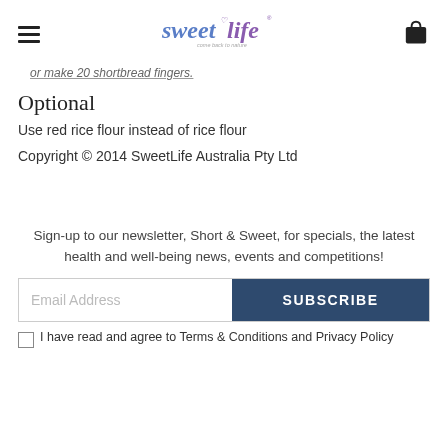sweetlife — come back to nature
or make 20 shortbread fingers.
Optional
Use red rice flour instead of rice flour
Copyright © 2014 SweetLife Australia Pty Ltd
Sign-up to our newsletter, Short & Sweet, for specials, the latest health and well-being news, events and competitions!
Email Address | SUBSCRIBE
I have read and agree to Terms & Conditions and Privacy Policy